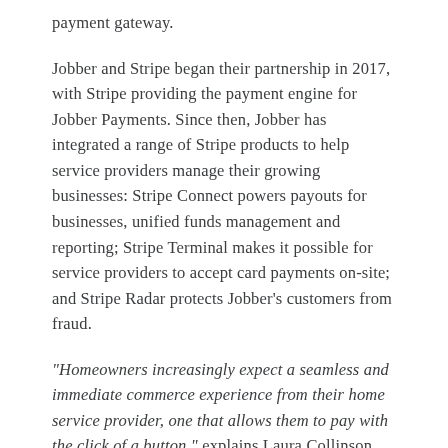payment gateway.
Jobber and Stripe began their partnership in 2017, with Stripe providing the payment engine for Jobber Payments. Since then, Jobber has integrated a range of Stripe products to help service providers manage their growing businesses: Stripe Connect powers payouts for businesses, unified funds management and reporting; Stripe Terminal makes it possible for service providers to accept card payments on-site; and Stripe Radar protects Jobber's customers from fraud.
“Homeowners increasingly expect a seamless and immediate commerce experience from their home service provider, one that allows them to pay with the click of a button,” explains Laura Collinson, Director of Fintech, Jobber. “Jobber’s integration with Stripe allows our customers to offer an incredibly smooth customer experience, giving them a product that generates more in…